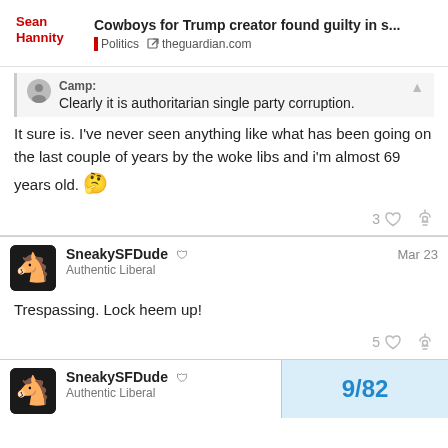Cowboys for Trump creator found guilty in s... | Politics | theguardian.com
Camp: Clearly it is authoritarian single party corruption.
It sure is. I've never seen anything like what has been going on the last couple of years by the woke libs and i'm almost 69 years old. 🤔
SneakySFDude | Authentic Liberal | Mar 23
Trespassing. Lock heem up!
SneakySFDude | Authentic Liberal
9 / 82